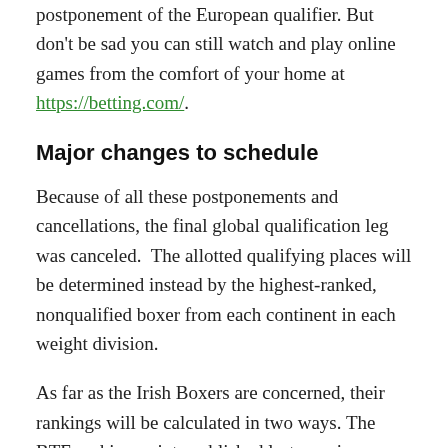postponement of the European qualifier. But don't be sad you can still watch and play online games from the comfort of your home at https://betting.com/.
Major changes to schedule
Because of all these postponements and cancellations, the final global qualification leg was canceled.  The allotted qualifying places will be determined instead by the highest-ranked, nonqualified boxer from each continent in each weight division.
As far as the Irish Boxers are concerned, their rankings will be calculated in two ways. The BTF ranking points published last year in conjunction with ranking points